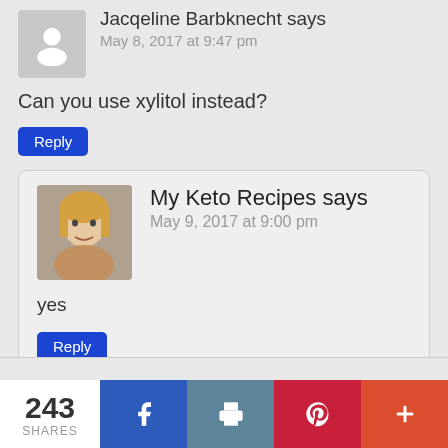Jacqeline Barbknecht says
May 8, 2017 at 9:47 pm
Can you use xylitol instead?
Reply
My Keto Recipes says
May 9, 2017 at 9:00 pm
yes
Reply
243 SHARES